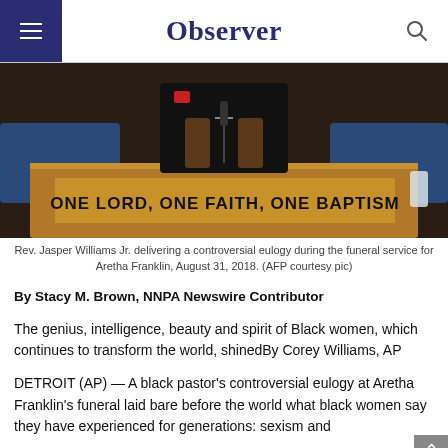Observer
[Figure (photo): Rev. Jasper Williams Jr. at a pulpit with a sign reading ONE LORD, ONE FAITH, ONE BAPTISM, delivering a eulogy at Aretha Franklin's funeral.]
Rev. Jasper Williams Jr. delivering a controversial eulogy during the funeral service for Aretha Franklin, August 31, 2018. (AFP courtesy pic)
By Stacy M. Brown, NNPA Newswire Contributor
The genius, intelligence, beauty and spirit of Black women, which continues to transform the world, shinedBy Corey Williams, AP
DETROIT (AP) — A black pastor's controversial eulogy at Aretha Franklin's funeral laid bare before the world what black women say they have experienced for generations: sexism and